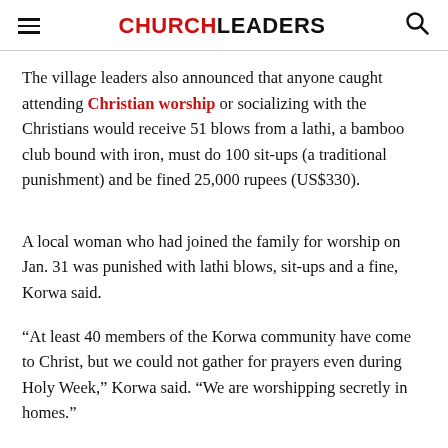CHURCHLEADERS
The village leaders also announced that anyone caught attending Christian worship or socializing with the Christians would receive 51 blows from a lathi, a bamboo club bound with iron, must do 100 sit-ups (a traditional punishment) and be fined 25,000 rupees (US$330).
A local woman who had joined the family for worship on Jan. 31 was punished with lathi blows, sit-ups and a fine, Korwa said.
“At least 40 members of the Korwa community have come to Christ, but we could not gather for prayers even during Holy Week,” Korwa said. “We are worshipping secretly in homes.”